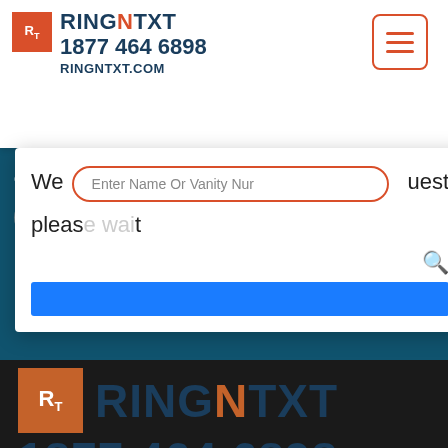[Figure (screenshot): RingNTXT website screenshot showing logo with phone number 1877 464 6898 and RINGNTXT.COM, hamburger menu button, search overlay with 'Enter Name Or Vanity Nur' input, a blue button bar, teal section with date 'on, Aug 29' and arrow button, and bottom section showing large RingNTXT logo, 1877 464 6898, and RINGNTXT.COM on gray/dark background]